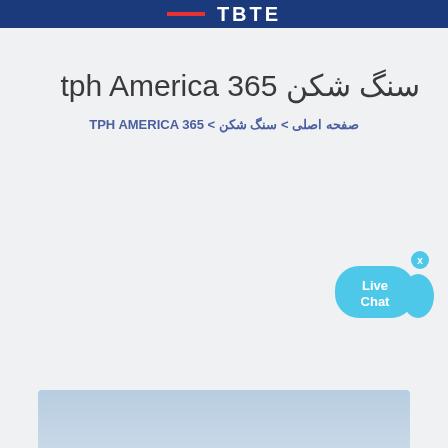TBTE
سنگ شکن 365 tph America
صفحه اصلی > سنگ شکن > TPH AMERICA 365
[Figure (illustration): Live Chat widget with fish-shaped cyan bubble and close button]
[Figure (photo): Partial image at bottom of page with light blue/grey background]